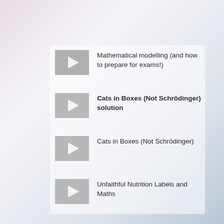Mathematical modelling (and how to prepare for exams!)
Cats in Boxes (Not Schrödinger) solution
Cats in Boxes (Not Schrödinger)
Unfaithful Nutrition Labels and Maths